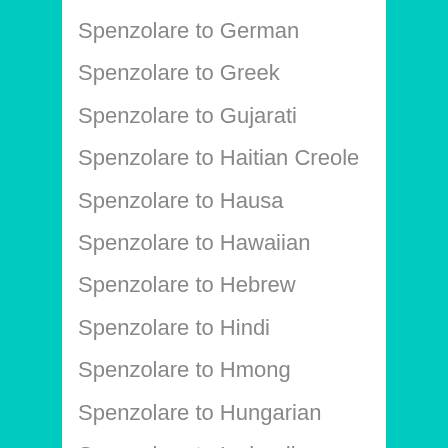Spenzolare to German
Spenzolare to Greek
Spenzolare to Gujarati
Spenzolare to Haitian Creole
Spenzolare to Hausa
Spenzolare to Hawaiian
Spenzolare to Hebrew
Spenzolare to Hindi
Spenzolare to Hmong
Spenzolare to Hungarian
Spenzolare to Icelandic
Spenzolare to Igbo
Spenzolare to Indonesian
Spenzolare to Irish